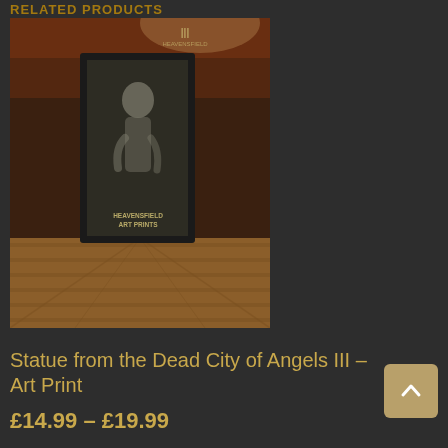RELATED PRODUCTS
[Figure (photo): Product photo of a framed art print titled 'Statue from the Dead City of Angels III' showing an eerie ghostly statue figure against a dark textured background, displayed in a black frame on a wooden floor against a brick wall, with 'HEAVENSFIELD ART PRINTS' text at the bottom of the image.]
Statue from the Dead City of Angels III – Art Print
£14.99 – £19.99